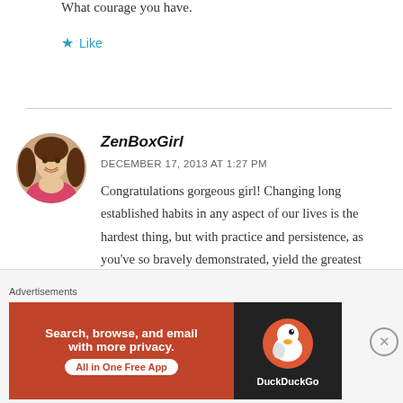What courage you have.
★ Like
ZenBoxGirl
DECEMBER 17, 2013 AT 1:27 PM
Congratulations gorgeous girl! Changing long established habits in any aspect of our lives is the hardest thing, but with practice and persistence, as you've so bravely demonstrated, yield the greatest rewards… and with time and
[Figure (photo): Circular avatar photo of a woman with long dark hair, smiling, outdoors]
[Figure (infographic): DuckDuckGo advertisement banner: orange left panel reading 'Search, browse, and email with more privacy. All in One Free App', dark right panel with DuckDuckGo duck logo]
Advertisements